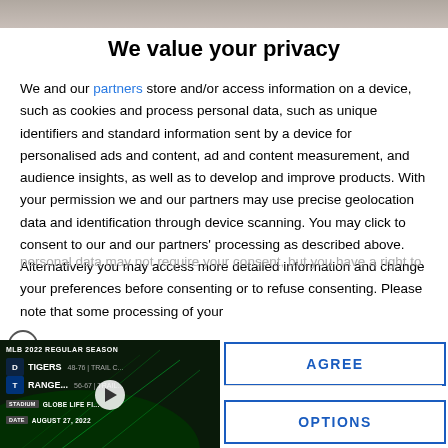[Figure (photo): Partial photo visible at top of page, muted tones]
We value your privacy
We and our partners store and/or access information on a device, such as cookies and process personal data, such as unique identifiers and standard information sent by a device for personalised ads and content, ad and content measurement, and audience insights, as well as to develop and improve products. With your permission we and our partners may use precise geolocation data and identification through device scanning. You may click to consent to our and our partners' processing as described above. Alternatively you may access more detailed information and change your preferences before consenting or to refuse consenting. Please note that some processing of your personal data may not require your consent, but you have a right to
[Figure (screenshot): Video overlay showing MLB 2022 Regular Season game: Tigers vs Rangers, Stadium: Globe Life Field, Date: August 27, 2022, with play button]
AGREE
OPTIONS